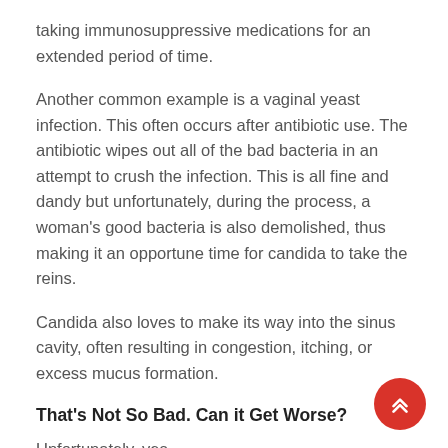taking immunosuppressive medications for an extended period of time.
Another common example is a vaginal yeast infection. This often occurs after antibiotic use. The antibiotic wipes out all of the bad bacteria in an attempt to crush the infection. This is all fine and dandy but unfortunately, during the process, a woman's good bacteria is also demolished, thus making it an opportune time for candida to take the reins.
Candida also loves to make its way into the sinus cavity, often resulting in congestion, itching, or excess mucus formation.
That's Not So Bad. Can it Get Worse?
Unfortunately, yes.